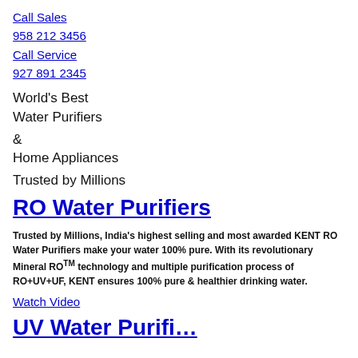Call Sales
958 212 3456
Call Service
927 891 2345
World's Best
Water Purifiers
& Home Appliances
Trusted by Millions
RO Water Purifiers
Trusted by Millions, India's highest selling and most awarded KENT RO Water Purifiers make your water 100% pure. With its revolutionary Mineral ROTM technology and multiple purification process of RO+UV+UF, KENT ensures 100% pure & healthier drinking water.
Watch Video
UV Water Purifiers